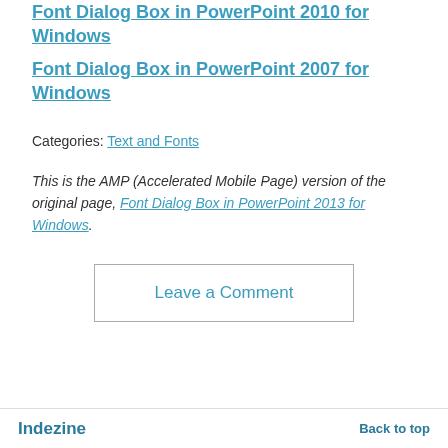Font Dialog Box in PowerPoint 2010 for Windows
Font Dialog Box in PowerPoint 2007 for Windows
Categories: Text and Fonts
This is the AMP (Accelerated Mobile Page) version of the original page, Font Dialog Box in PowerPoint 2013 for Windows.
Leave a Comment
Indezine    Back to top